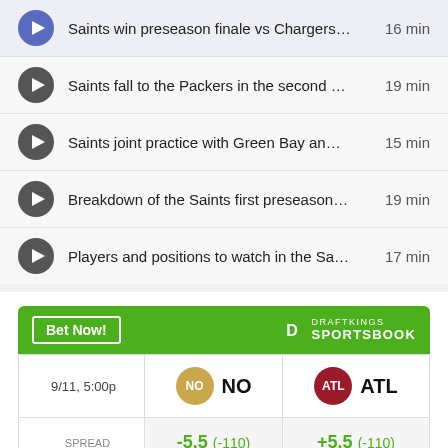Saints win preseason finale vs Chargers... 16 min
Saints fall to the Packers in the second ... 19 min
Saints joint practice with Green Bay an... 15 min
Breakdown of the Saints first preseason...19 min
Players and positions to watch in the Sa...17 min
|  | NO | ATL |
| --- | --- | --- |
| 9/11, 5:00p | NO | ATL |
| SPREAD | -5.5 (-110) | +5.5 (-110) |
| MONEY LINE | -225 | +190 |